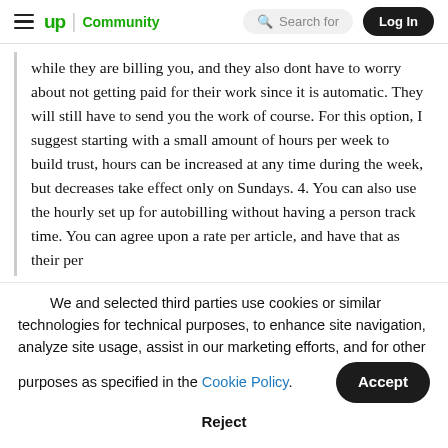up Community  Search for  Log In
while they are billing you, and they also dont have to worry about not getting paid for their work since it is automatic. They will still have to send you the work of course. For this option, I suggest starting with a small amount of hours per week to build trust, hours can be increased at any time during the week, but decreases take effect only on Sundays. 4. You can also use the hourly set up for autobilling without having a person track time. You can agree upon a rate per article, and have that as their per
We and selected third parties use cookies or similar technologies for technical purposes, to enhance site navigation, analyze site usage, assist in our marketing efforts, and for other purposes as specified in the Cookie Policy.
Accept
Reject